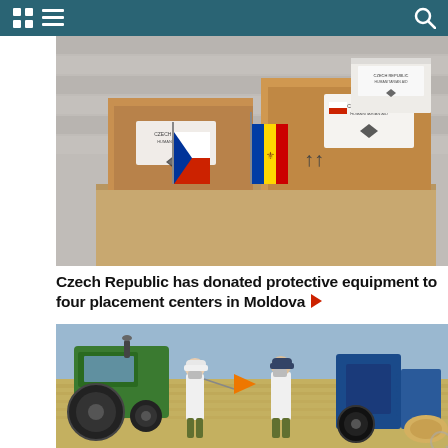Navigation header with grid/menu icons and search
[Figure (photo): Cardboard boxes labeled 'Czech Republic' humanitarian aid with Czech and Moldovan flags on a table]
Czech Republic has donated protective equipment to four placement centers in Moldova ▶
[Figure (photo): Two workers in white t-shirts and caps with agricultural machinery (green tractor, blue equipment) in a field]